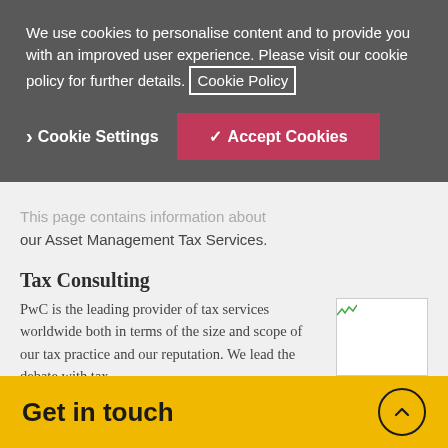We use cookies to personalise content and to provide you with an improved user experience. Please visit our cookie policy for further details. Cookie Policy
Cookie Settings
Accept Cookies
This page contains information about our Asset Management Tax Services.
Tax Consulting
PwC is the leading provider of tax services worldwide both in terms of the size and scope of our tax practice and our reputation. We lead the debate with tax...
International Tax News
Get in touch